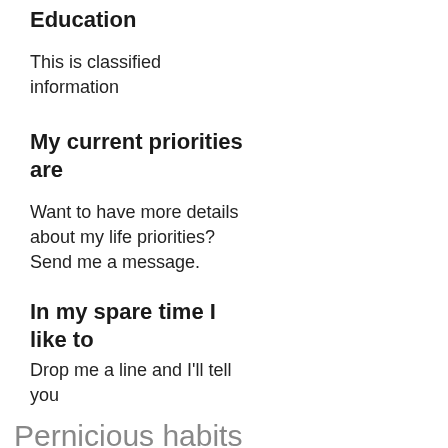Education
This is classified information
My current priorities are
Want to have more details about my life priorities? Send me a message.
In my spare time I like to
Drop me a line and I'll tell you
Pernicious habits